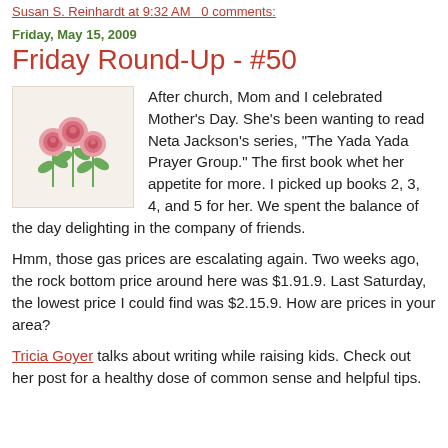Susan S. Reinhardt at 9:32 AM   0 comments:
Friday, May 15, 2009
Friday Round-Up - #50
[Figure (illustration): Illustration of three pink roses with green stems and leaves on a light beige background]
After church, Mom and I celebrated Mother's Day. She's been wanting to read Neta Jackson's series, "The Yada Yada Prayer Group." The first book whet her appetite for more. I picked up books 2, 3, 4, and 5 for her. We spent the balance of the day delighting in the company of friends.
Hmm, those gas prices are escalating again. Two weeks ago, the rock bottom price around here was $1.91.9. Last Saturday, the lowest price I could find was $2.15.9. How are prices in your area?
Tricia Goyer talks about writing while raising kids. Check out her post for a healthy dose of common sense and helpful tips.